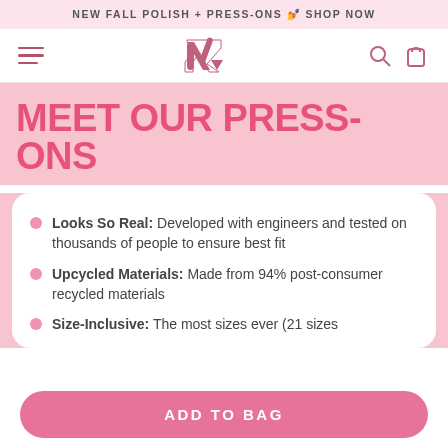NEW FALL POLISH + PRESS-ONS 💅 SHOP NOW
[Figure (logo): Navigation bar with hamburger menu, brand logo (stylized ampersand/nail icon in pink), search icon, and bag icon]
MEET OUR PRESS-ONS
Looks So Real: Developed with engineers and tested on thousands of people to ensure best fit
Upcycled Materials: Made from 94% post-consumer recycled materials
Size-Inclusive: The most sizes ever (21 sizes
ADD TO BAG